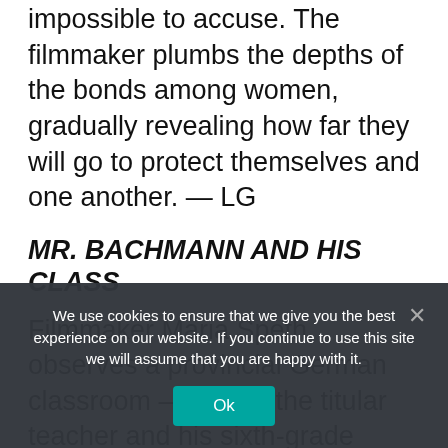impossible to accuse. The filmmaker plumbs the depths of the bonds among women, gradually revealing how far they will go to protect themselves and one another. — LG
MR. BACHMANN AND HIS CLASS
Filmmaker Maria Speth observes a provincial German classroom — that of the titular teacher and his sixth-grade students, most from immigrant families — where jam sessions and juggling lessons are as likely as instruction in math and grammar. The [text continues below]
We use cookies to ensure that we give you the best experience on our website. If you continue to use this site we will assume that you are happy with it.